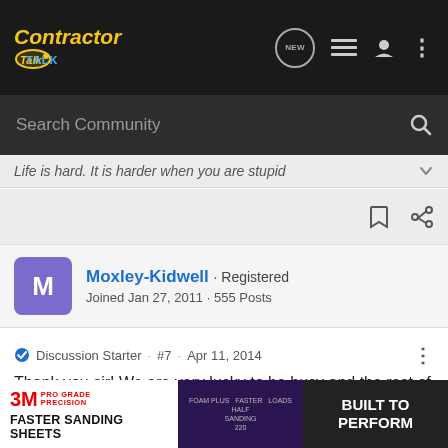Contractor Talk — NEW, list, person, menu icons
Search Community
Life is hard. It is harder when you are stupid
Moxley-Kidwell · Registered
Joined Jan 27, 2011 · 555 Posts
Discussion Starter · #7 · Apr 11, 2014
Thank you sir! We are very lucky to be busy and the rest of the year is looking pretty good as well. Not much on the bigger mass grading, but we get into a little. The guys are liking the rented equipment though. Not cheap, but cat always sends real nice and beast. We use this
[Figure (advertisement): 3M Pro Grade Precision advertisement — Faster Sanding Sheets, Built to Perform]